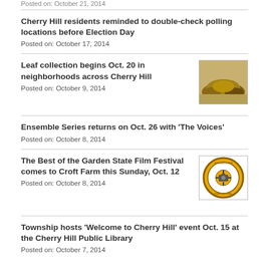Posted on: October 21, 2014
Cherry Hill residents reminded to double-check polling locations before Election Day
Posted on: October 17, 2014
Leaf collection begins Oct. 20 in neighborhoods across Cherry Hill
[Figure (photo): Pile of brown leaves on grass]
Posted on: October 9, 2014
Ensemble Series returns on Oct. 26 with 'The Voices'
Posted on: October 8, 2014
The Best of the Garden State Film Festival comes to Croft Farm this Sunday, Oct. 12
[Figure (logo): Garden State Film Festival circular logo with yellow/gold border]
Posted on: October 8, 2014
Township hosts 'Welcome to Cherry Hill' event Oct. 15 at the Cherry Hill Public Library
Posted on: October 7, 2014